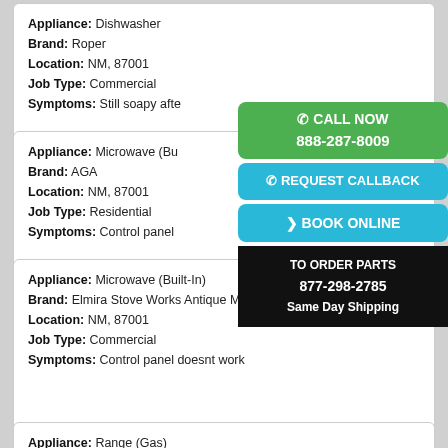Appliance: Dishwasher | Brand: Roper | Location: NM, 87001 | Job Type: Commercial | Symptoms: Still soapy afte
Appliance: Microwave (Bu... | Brand: AGA | Location: NM, 87001 | Job Type: Residential | Symptoms: Control panel does...
Appliance: Microwave (Built-In) | Brand: Elmira Stove Works Antique Microwave | Location: NM, 87001 | Job Type: Commercial | Symptoms: Control panel doesnt work
Appliance: Range (Gas)...